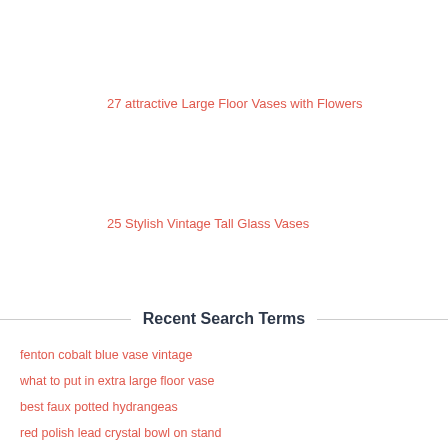27 attractive Large Floor Vases with Flowers
25 Stylish Vintage Tall Glass Vases
Recent Search Terms
fenton cobalt blue vase vintage
what to put in extra large floor vase
best faux potted hydrangeas
red polish lead crystal bowl on stand